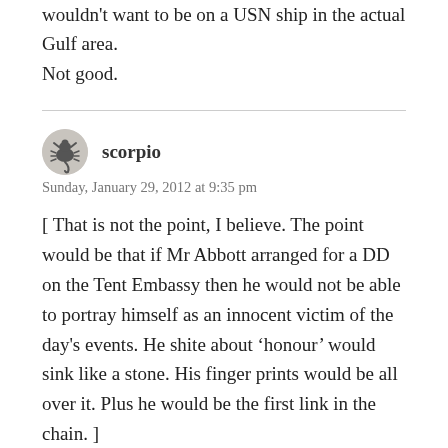wouldn't want to be on a USN ship in the actual Gulf area.
Not good.
scorpio
Sunday, January 29, 2012 at 9:35 pm
[ That is not the point, I believe. The point would be that if Mr Abbott arranged for a DD on the Tent Embassy then he would not be able to portray himself as an innocent victim of the day's events. He shite about ‘honour’ would sink like a stone. His finger prints would be all over it. Plus he would be the first link in the chain. ]